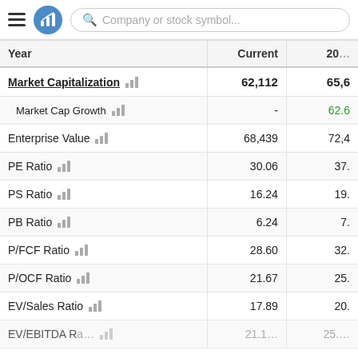Company or stock symbol...
| Year | Current | 20… |
| --- | --- | --- |
| Market Capitalization | 62,112 | 65,6… |
| Market Cap Growth | - | 62.6… |
| Enterprise Value | 68,439 | 72,4… |
| PE Ratio | 30.06 | 37.… |
| PS Ratio | 16.24 | 19.… |
| PB Ratio | 6.24 | 7.… |
| P/FCF Ratio | 28.60 | 32.… |
| P/OCF Ratio | 21.67 | 25.… |
| EV/Sales Ratio | 17.89 | 20.… |
| EV/EBITDA Ratio (partial) | 21.1… | 25.… |